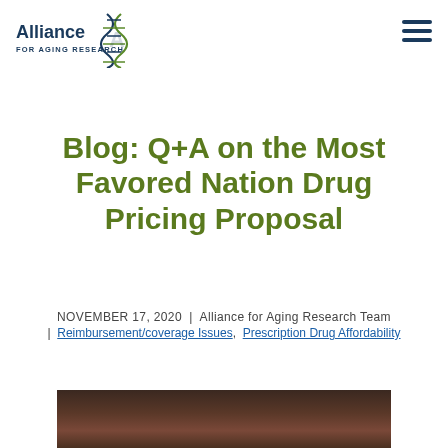[Figure (logo): Alliance for Aging Research logo with DNA helix graphic and text]
Blog: Q+A on the Most Favored Nation Drug Pricing Proposal
NOVEMBER 17, 2020 | Alliance for Aging Research Team | Reimbursement/coverage Issues, Prescription Drug Affordability
[Figure (photo): Partial photo of a person, cropped at bottom of page]